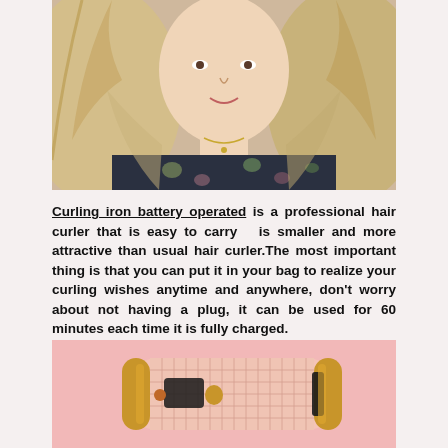[Figure (photo): Woman with long blonde hair wearing a floral top, photographed from shoulders up]
Curling iron battery operated is a professional hair curler that is easy to carry  is smaller and more attractive than usual hair curler.The most important thing is that you can put it in your bag to realize your curling wishes anytime and anywhere, don't worry about not having a plug, it can be used for 60 minutes each time it is fully charged.
[Figure (photo): Pink and gold automatic curling iron hair tool on pink background]